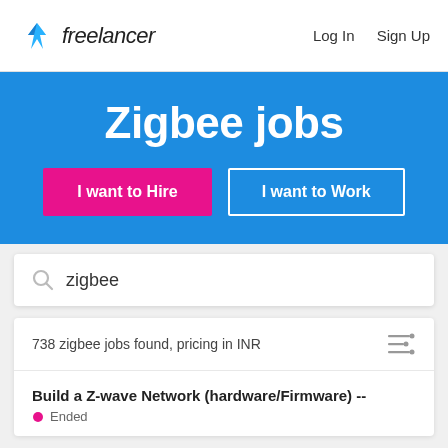freelancer  Log In  Sign Up
Zigbee jobs
I want to Hire
I want to Work
zigbee
738 zigbee jobs found, pricing in INR
Build a Z-wave Network (hardware/Firmware) --
Ended